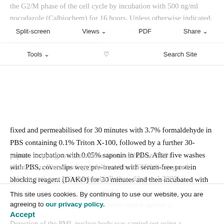the G2/M phase of the cell cycle by incubation with 500 ng/ml nocodazole (Calbiochem) for 16 hours. Unless otherwise indicated, other incubations were carried out at room temperature. After washing with PBS, cells were fixed and permeabilised for 30 minutes with 3.7% formaldehyde in PBS containing 0.1% Triton X-100, followed by a further 30-minute incubation with 0.05% saponin in PBS. After five washes with PBS, coverslips were pre-treated with serum-free protein blocking reagent (DAKO) for 30 minutes and then incubated with primary antibodies for 1 hour. TRF1 was detected using a 1:1000 dilution of a goat polyclonal antibody raised against a
Split-screen | Views | PDF | Share | Tools | Search Site
peptide mapping to the amino terminus of human TRF1 (Santa Cruz Biotechnology), followed by a FITC-Conjugated chicken anti-goat IgG (Molecular Probes, dilution 1:2000). Detection of the PML nuclear body was carried out using a
This site uses cookies. By continuing to use our website, you are agreeing to our privacy policy. Accept